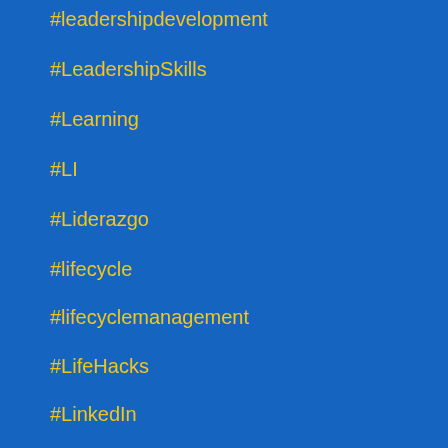#leadershipdevelopment
#LeadershipSkills
#Learning
#LI
#Liderazgo
#lifecycle
#lifecyclemanagement
#LifeHacks
#LinkedIn
#linkO